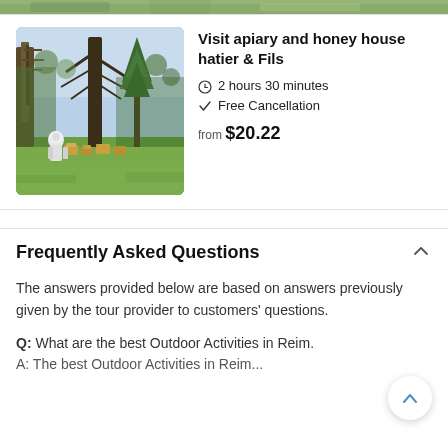[Figure (photo): Top strip of a forest/nature image, partially cropped at the top of the page]
[Figure (photo): Photo of a beekeeper in a meadow with beehives, surrounded by bare trees and green grass]
Visit apiary and honey house hatier & Fils
2 hours 30 minutes
Free Cancellation
from $20.22
Frequently Asked Questions
The answers provided below are based on answers previously given by the tour provider to customers' questions.
Q:  What are the best Outdoor Activities in Reim.
A:  The best Outdoor Activities in Reim...